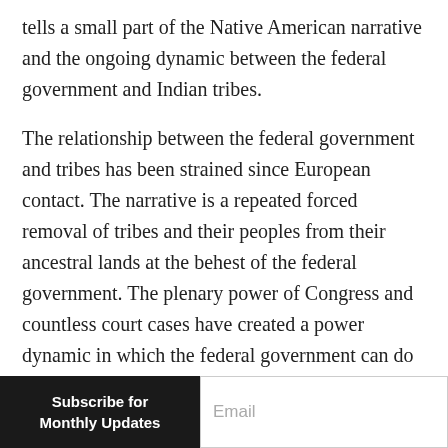tells a small part of the Native American narrative and the ongoing dynamic between the federal government and Indian tribes.
The relationship between the federal government and tribes has been strained since European contact. The narrative is a repeated forced removal of tribes and their peoples from their ancestral lands at the behest of the federal government. The plenary power of Congress and countless court cases have created a power dynamic in which the federal government can do anything to Native American communities and lands and there is not much that tribes can do about it. Without a change in substantive procedures in federal programs and legislation,
Subscribe for Monthly Updates
Email